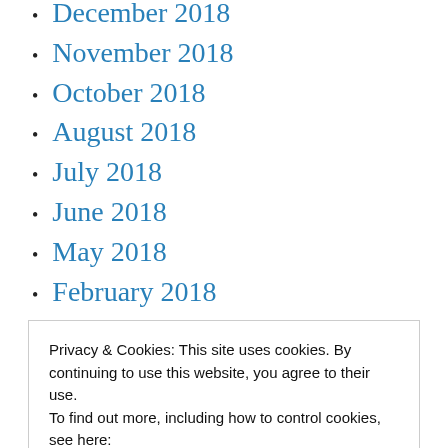December 2018
November 2018
October 2018
August 2018
July 2018
June 2018
May 2018
February 2018
January 2018
November 2017
Privacy & Cookies: This site uses cookies. By continuing to use this website, you agree to their use.
To find out more, including how to control cookies, see here:
Cookie Policy
Close and accept
May 2017